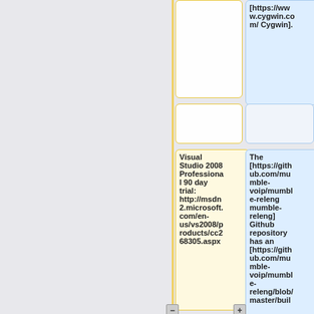[https://www.cygwin.com/ Cygwin].
Visual Studio 2008 Professional 90 day trial: http://msdn2.microsoft.com/en-us/vs2008/products/cc268305.aspx
The [https://github.com/mumble-voip/mumble-releng mumble-releng] Github repository has an [https://github.com/mumble-voip/mumble-releng/blob/master/buil